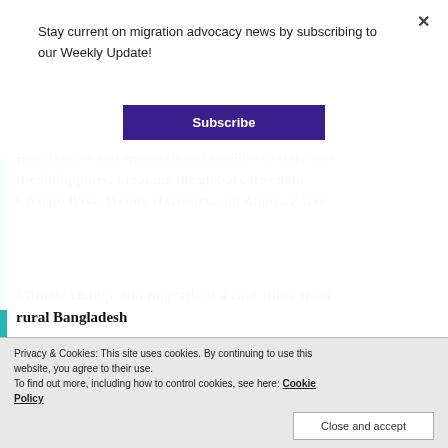Stay current on migration advocacy news by subscribing to our Weekly Update!
Subscribe
Remittances and transnational families in Italy and the Philippines: breaking the global care chain Charito Basa, Wendy Harcourt, and Angela Zarro
Climate change and migration: a case study from rural Bangladesh
Privacy & Cookies: This site uses cookies. By continuing to use this website, you agree to their use. To find out more, including how to control cookies, see here: Cookie Policy
Close and accept
Feminist Support for in Honduras US...